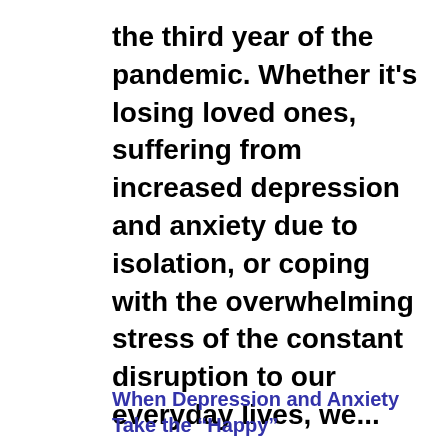the third year of the pandemic. Whether it's losing loved ones, suffering from increased depression and anxiety due to isolation, or coping with the overwhelming stress of the constant disruption to our everyday lives, we...
When Depression and Anxiety Take the “Happy”